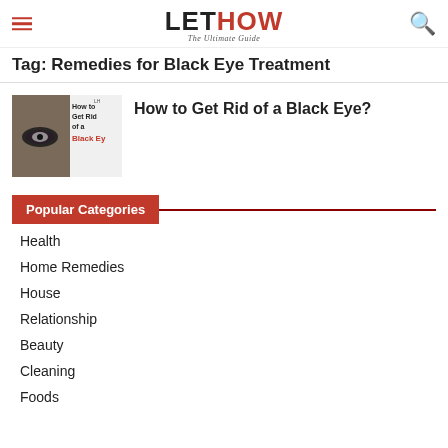LETHOW The Ultimate Guide
Tag: Remedies for Black Eye Treatment
[Figure (photo): Thumbnail image of a man with a black eye next to text 'How to Get Rid of a Black Eye']
How to Get Rid of a Black Eye?
Popular Categories
Health
Home Remedies
House
Relationship
Beauty
Cleaning
Foods